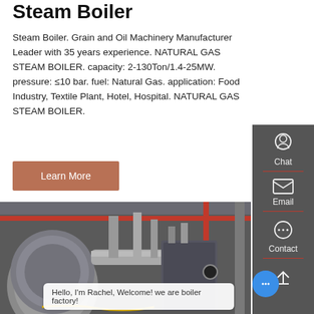Steam Boiler
Steam Boiler. Grain and Oil Machinery Manufacturer Leader with 35 years experience. NATURAL GAS STEAM BOILER. capacity: 2-130Ton/1.4-25MW. pressure: ≤10 bar. fuel: Natural Gas. application: Food Industry, Textile Plant, Hotel, Hospital. NATURAL GAS STEAM BOILER.
Learn More
[Figure (photo): Industrial steam boiler installation in a factory with metal pipes, red structural beams, and large cylindrical boiler unit.]
Hello, I'm Rachel, Welcome! we are boiler factory!